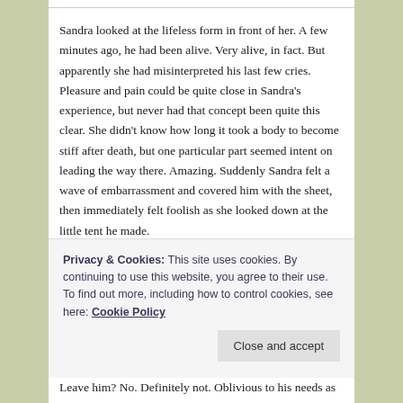Sandra looked at the lifeless form in front of her. A few minutes ago, he had been alive. Very alive, in fact. But apparently she had misinterpreted his last few cries. Pleasure and pain could be quite close in Sandra's experience, but never had that concept been quite this clear. She didn't know how long it took a body to become stiff after death, but one particular part seemed intent on leading the way there. Amazing. Suddenly Sandra felt a wave of embarrassment and covered him with the sheet, then immediately felt foolish as she looked down at the little tent he made.
The ticking of the clock caught Sandra's attention, and
should be home by five. Two hours. Suddenly this simple affair seemed not so simple this complicated, and a very bad idea. Amazing how clear that suddenly became.
Privacy & Cookies: This site uses cookies. By continuing to use this website, you agree to their use. To find out more, including how to control cookies, see here: Cookie Policy
Leave him? No. Definitely not. Oblivious to his needs as